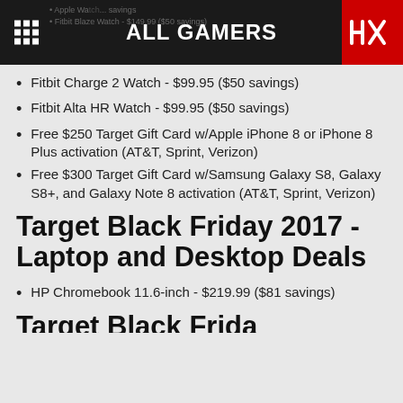ALL GAMERS
Fitbit Charge 2 Watch - $99.95 ($50 savings)
Fitbit Alta HR Watch - $99.95 ($50 savings)
Free $250 Target Gift Card w/Apple iPhone 8 or iPhone 8 Plus activation (AT&T, Sprint, Verizon)
Free $300 Target Gift Card w/Samsung Galaxy S8, Galaxy S8+, and Galaxy Note 8 activation (AT&T, Sprint, Verizon)
Target Black Friday 2017 - Laptop and Desktop Deals
HP Chromebook 11.6-inch - $219.99 ($81 savings)